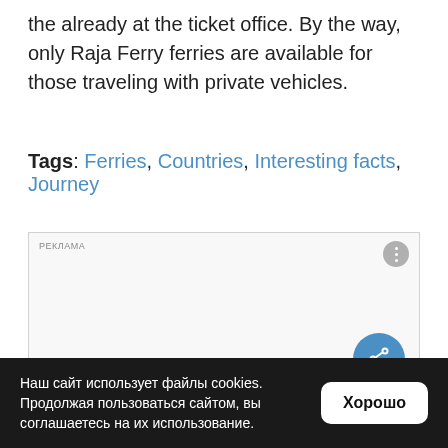the already at the ticket office. By the way, only Raja Ferry ferries are available for those traveling with private vehicles.
Tags: Ferries, Countries, Interesting facts, Journey
[Figure (other): Advertisement block with РЕКЛАМА label, three-dot menu button, a share button (blue circle with share icon), and empty white content area.]
Наш сайт использует файлы cookies. Продолжая пользоваться сайтом, вы соглашаетесь на их использование. Хорошо